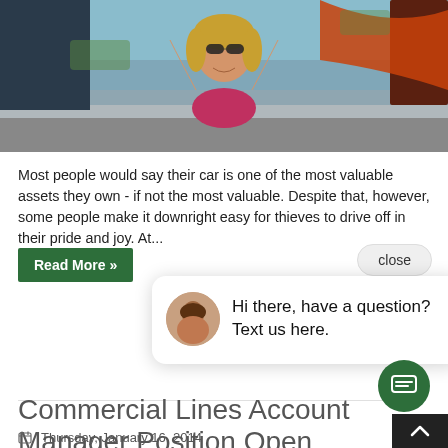[Figure (photo): Woman with sunglasses smiling in a convertible car with roof open, outdoor setting]
Most people would say their car is one of the most valuable assets they own - if not the most valuable. Despite that, however, some people make it downright easy for thieves to drive off in their pride and joy. At...
Read More »
close
Hi there, have a question? Text us here.
Commercial Lines Account Manager Position Open
Thursday, January 16, 2014